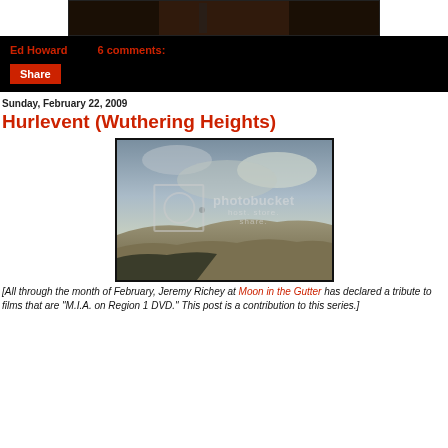[Figure (photo): Dark brown toned film still at top of page, partially cropped]
Ed Howard    6 comments:
Share
Sunday, February 22, 2009
Hurlevent (Wuthering Heights)
[Figure (photo): Photobucket placeholder image showing landscape with hills and cloudy sky, with photobucket watermark overlay]
[All through the month of February, Jeremy Richey at Moon in the Gutter has declared a tribute to films that are "M.I.A. on Region 1 DVD." This post is a contribution to this series.]